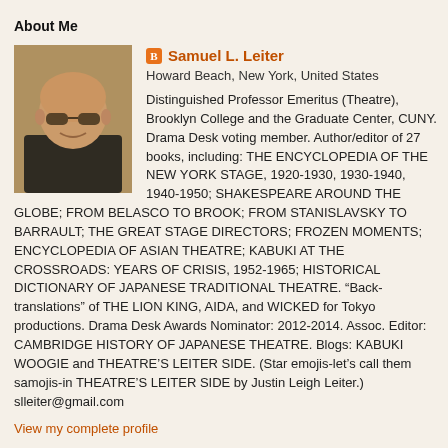About Me
[Figure (photo): Profile photo of Samuel L. Leiter, a bald man with sunglasses, wearing a dark shirt]
Samuel L. Leiter
Howard Beach, New York, United States
Distinguished Professor Emeritus (Theatre), Brooklyn College and the Graduate Center, CUNY. Drama Desk voting member. Author/editor of 27 books, including: THE ENCYCLOPEDIA OF THE NEW YORK STAGE, 1920-1930, 1930-1940, 1940-1950; SHAKESPEARE AROUND THE GLOBE; FROM BELASCO TO BROOK; FROM STANISLAVSKY TO BARRAULT; THE GREAT STAGE DIRECTORS; FROZEN MOMENTS; ENCYCLOPEDIA OF ASIAN THEATRE; KABUKI AT THE CROSSROADS: YEARS OF CRISIS, 1952-1965; HISTORICAL DICTIONARY OF JAPANESE TRADITIONAL THEATRE. “Back-translations” of THE LION KING, AIDA, and WICKED for Tokyo productions. Drama Desk Awards Nominator: 2012-2014. Assoc. Editor: CAMBRIDGE HISTORY OF JAPANESE THEATRE. Blogs: KABUKI WOOGIE and THEATRE'S LEITER SIDE. (Star emojis-let's call them samojis-in THEATRE'S LEITER SIDE by Justin Leigh Leiter.) slleiter@gmail.com
View my complete profile